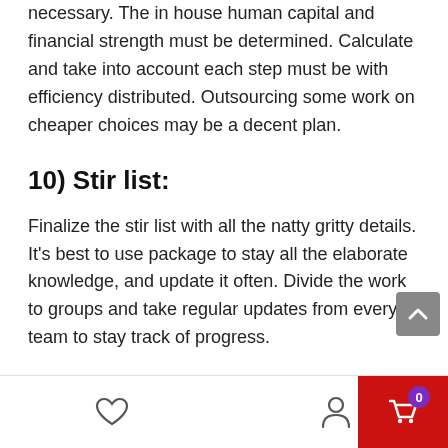necessary. The in house human capital and financial strength must be determined. Calculate and take into account each step must be with efficiency distributed. Outsourcing some work on cheaper choices may be a decent plan.
10) Stir list:
Finalize the stir list with all the natty gritty details. It's best to use package to stay all the elaborate knowledge, and update it often. Divide the work to groups and take regular updates from every team to stay track of progress.
Final Words